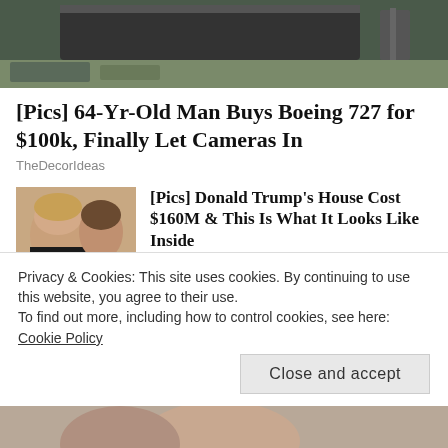[Figure (photo): Top partial photo showing dark structure, possibly aircraft or machinery, outdoors on grass]
[Pics] 64-Yr-Old Man Buys Boeing 727 for $100k, Finally Let Cameras In
TheDecorIdeas
[Figure (photo): Thumbnail photo of Donald Trump and Melania Trump dressed formally]
[Pics] Donald Trump's House Cost $160M & This Is What It Looks Like Inside
BuzzAura
[Figure (photo): Thumbnail photo of dark-haired woman, partially visible]
[Gallery] Octomom's Eight Kids Are All Grown Up, Look What
Privacy & Cookies: This site uses cookies. By continuing to use this website, you agree to their use.
To find out more, including how to control cookies, see here: Cookie Policy
Close and accept
[Figure (photo): Bottom partial photo of a person, partially visible]